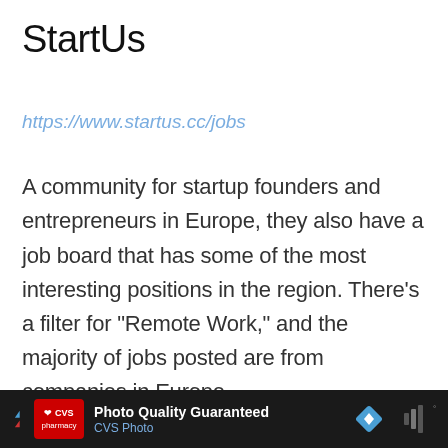StartUs
https://www.startus.cc/jobs
A community for startup founders and entrepreneurs in Europe, they also have a job board that has some of the most interesting positions in the region. There’s a filter for “Remote Work,” and the majority of jobs posted are from companies in Europe.
[Figure (screenshot): CVS Photo advertisement bar at the bottom: dark background with CVS pharmacy logo, 'Photo Quality Guaranteed' text, CVS Photo subtitle in blue, a blue diamond navigation icon, and a dark speaker/volume icon on the right.]